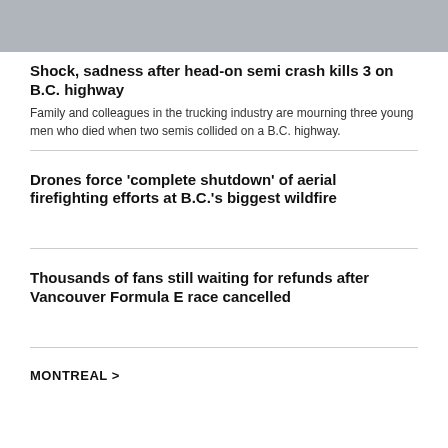[Figure (photo): Top portion of a news article photo, showing a grey/overcast scene, cropped at the top of the page.]
Shock, sadness after head-on semi crash kills 3 on B.C. highway
Family and colleagues in the trucking industry are mourning three young men who died when two semis collided on a B.C. highway.
Drones force 'complete shutdown' of aerial firefighting efforts at B.C.'s biggest wildfire
Thousands of fans still waiting for refunds after Vancouver Formula E race cancelled
MONTREAL >